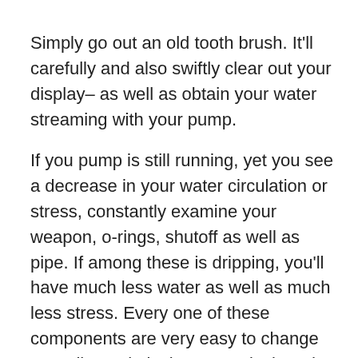Simply go out an old tooth brush. It'll carefully and also swiftly clear out your display– as well as obtain your water streaming with your pump.
If you pump is still running, yet you see a decrease in your water circulation or stress, constantly examine your weapon, o-rings, shutoff as well as pipe. If among these is dripping, you'll have much less water as well as much less stress. Every one of these components are very easy to change as well as relatively economical. And also do not fail to remember to look for twists in your yard as well as high stress hose pipe.